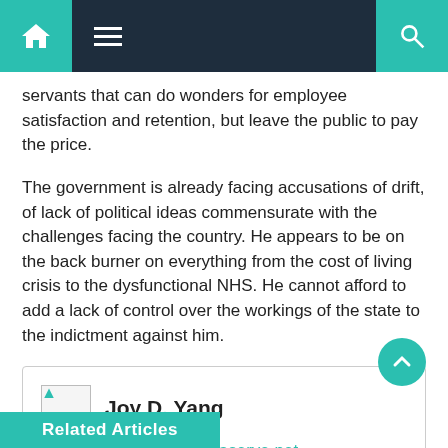Navigation bar with home, menu, and search icons
servants that can do wonders for employee satisfaction and retention, but leave the public to pay the price.
The government is already facing accusations of drift, of lack of political ideas commensurate with the challenges facing the country. He appears to be on the back burner on everything from the cost of living crisis to the dysfunctional NHS. He cannot afford to add a lack of control over the workings of the state to the indictment against him.
Joy D. Yang
https://exaserve.net
Related Articles